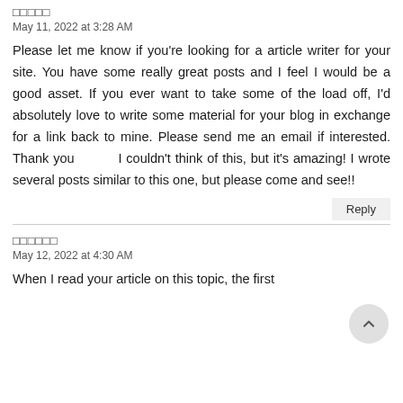□□□□□
May 11, 2022 at 3:28 AM
Please let me know if you're looking for a article writer for your site. You have some really great posts and I feel I would be a good asset. If you ever want to take some of the load off, I'd absolutely love to write some material for your blog in exchange for a link back to mine. Please send me an email if interested. Thank you          I couldn't think of this, but it's amazing! I wrote several posts similar to this one, but please come and see!!
Reply
□□□□□□
May 12, 2022 at 4:30 AM
When I read your article on this topic, the first